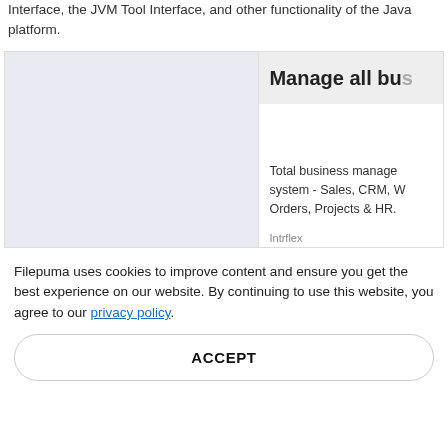Interface, the JVM Tool Interface, and other functionality of the Java platform.
[Figure (screenshot): Advertisement card with left gray area and right panel showing 'Manage all bu...' header and text about total business management system.]
Total business management system - Sales, CRM, W... Orders, Projects & HR.
Intrflex
Filepuma uses cookies to improve content and ensure you get the best experience on our website. By continuing to use this website, you agree to our privacy policy.
ACCEPT